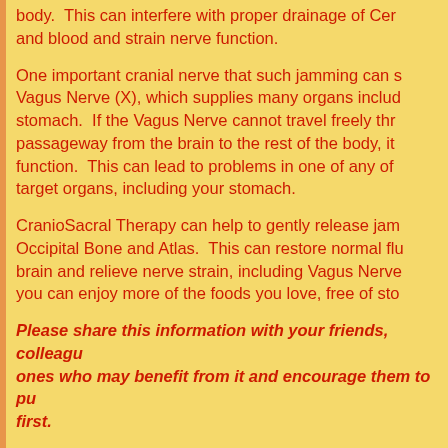body.  This can interfere with proper drainage of Cer and blood and strain nerve function.
One important cranial nerve that such jamming can s Vagus Nerve (X), which supplies many organs includ stomach.  If the Vagus Nerve cannot travel freely thr passageway from the brain to the rest of the body, it function.  This can lead to problems in one of any of target organs, including your stomach.
CranioSacral Therapy can help to gently release jam Occipital Bone and Atlas.  This can restore normal flu brain and relieve nerve strain, including Vagus Nerve you can enjoy more of the foods you love, free of sto
Please share this information with your friends, colleagu ones who may benefit from it and encourage them to pu first.
For previous newsletter issues, click her